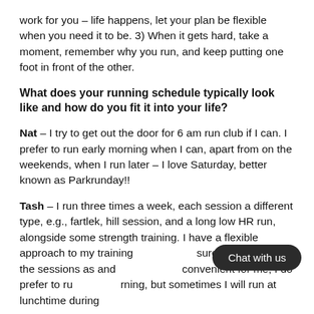work for you – life happens, let your plan be flexible when you need it to be. 3) When it gets hard, take a moment, remember why you run, and keep putting one foot in front of the other.
What does your running schedule typically look like and how do you fit it into your life?
Nat – I try to get out the door for 6 am run club if I can. I prefer to run early morning when I can, apart from on the weekends, when I run later – I love Saturday, better known as Parkrunday!!
Tash – I run three times a week, each session a different type, e.g., fartlek, hill session, and a long low HR run, alongside some strength training. I have a flexible approach to my training and sure I complete all the sessions as and when convenient for me, I do prefer to run in the morning, but sometimes I will run at lunchtime during